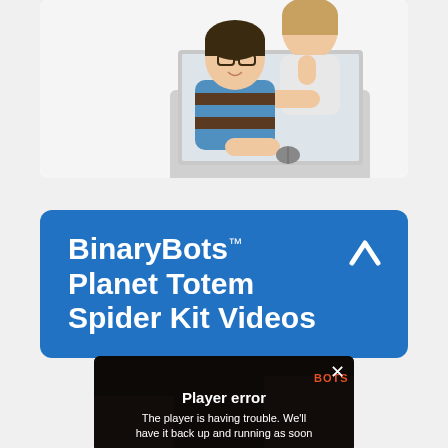[Figure (photo): A child and adult (woman) sitting together at a laptop computer, smiling at the camera. The child is in a blue and brown striped sweater, the woman is in a white top. White background.]
BinaryBots™ Planet Totem Spider Kit Videos
[Figure (screenshot): Video player showing a dark background with a 'Player error' overlay message: 'The player is having trouble. We'll have it back up and running as soon...' with a close X button and a BOTS logo watermark.]